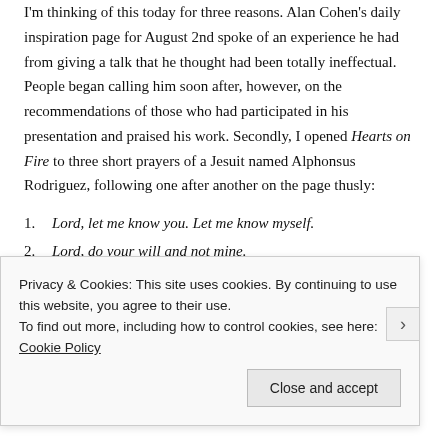I'm thinking of this today for three reasons. Alan Cohen's daily inspiration page for August 2nd spoke of an experience he had from giving a talk that he thought had been totally ineffectual. People began calling him soon after, however, on the recommendations of those who had participated in his presentation and praised his work. Secondly, I opened Hearts on Fire to three short prayers of a Jesuit named Alphonsus Rodriguez, following one after another on the page thusly:
Lord, let me know you. Let me know myself.
Lord, do your will and not mine.
I'm just coming, Lord.
Privacy & Cookies: This site uses cookies. By continuing to use this website, you agree to their use. To find out more, including how to control cookies, see here: Cookie Policy